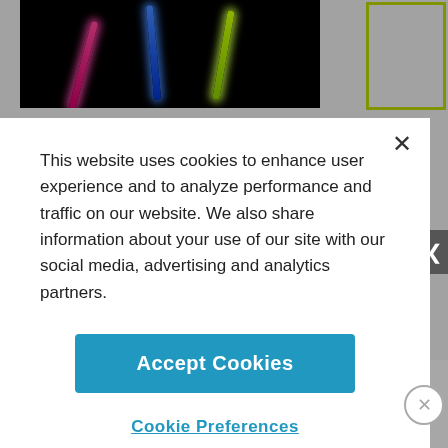[Figure (photo): Glow sticks (pink, blue, yellow-green) on black background, partially visible behind cookie consent modal]
[Figure (screenshot): Pink 'SIGN UP' button partially visible behind cookie consent modal overlay]
This website uses cookies to enhance user experience and to analyze performance and traffic on our website. We also share information about your use of our site with our social media, advertising and analytics partners.
Accept Cookies
Cookie Preferences
ADVERTISEMENT
By proceeding, you agree to our Privacy Policy and Terms of Use.